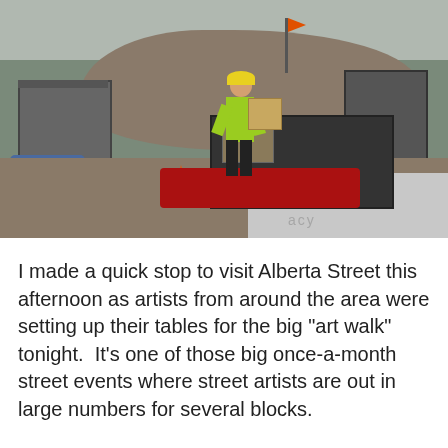[Figure (photo): A construction or demolition site. A worker wearing a yellow hard hat and high-visibility vest is handling a cardboard box near a metal cart loaded with debris. There are large gray dumpsters to the left, a pile of rubble and wooden debris in the background, a blue tarp on the ground, an orange traffic cone, a red vehicle at the bottom, and a concrete barrier in the foreground right.]
I made a quick stop to visit Alberta Street this afternoon as artists from around the area were setting up their tables for the big "art walk" tonight.  It's one of those big once-a-month street events where street artists are out in large numbers for several blocks.